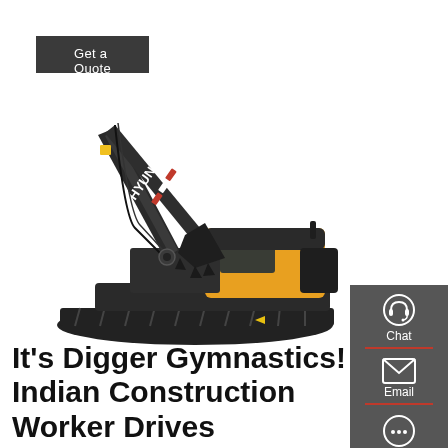Get a Quote
[Figure (photo): Hyundai crawler excavator (digger) with dark grey body and yellow cab, shown on white background]
Chat
Email
Contact
It's Digger Gymnastics! Indian Construction Worker Drives